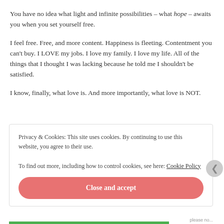You have no idea what light and infinite possibilities – what hope – awaits you when you set yourself free.
I feel free. Free, and more content. Happiness is fleeting. Contentment you can't buy. I LOVE my jobs. I love my family. I love my life. All of the things that I thought I was lacking because he told me I shouldn't be satisfied.
I know, finally, what love is. And more importantly, what love is NOT.
Privacy & Cookies: This site uses cookies. By continuing to use this website, you agree to their use.
To find out more, including how to control cookies, see here: Cookie Policy
Close and accept